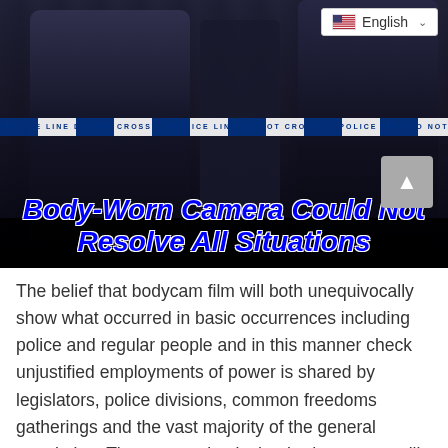[Figure (photo): Armed police officers in tactical gear at night, behind police tape cordon. A language selector showing English with a US flag is visible in the top right corner.]
Body-Worn Camera Could Not Resolve All Situations
The belief that bodycam film will both unequivocally show what occurred in basic occurrences including police and regular people and in this manner check unjustified employments of power is shared by legislators, police divisions, common freedoms gatherings and the vast majority of the general population. The expectation is that bodycam use will help unravel the undeniably tangled records among